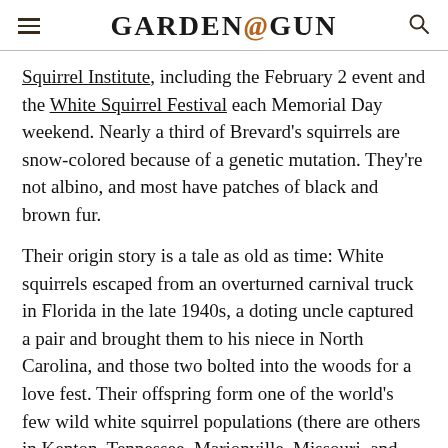GARDEN&GUN
Squirrel Institute, including the February 2 event and the White Squirrel Festival each Memorial Day weekend. Nearly a third of Brevard's squirrels are snow-colored because of a genetic mutation. They're not albino, and most have patches of black and brown fur.
Their origin story is a tale as old as time: White squirrels escaped from an overturned carnival truck in Florida in the late 1940s, a doting uncle captured a pair and brought them to his niece in North Carolina, and those two bolted into the woods for a love fest. Their offspring form one of the world's few wild white squirrel populations (there are others in Kenton, Tennessee, Marionville, Missouri, and Olney, Illinois).